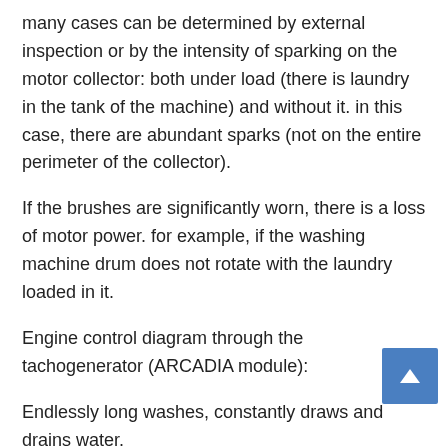many cases can be determined by external inspection or by the intensity of sparking on the motor collector: both under load (there is laundry in the tank of the machine) and without it. in this case, there are abundant sparks (not on the entire perimeter of the collector).
If the brushes are significantly worn, there is a loss of motor power. for example, if the washing machine drum does not rotate with the laundry loaded in it.
Engine control diagram through the tachogenerator (ARCADIA module):
Endlessly long washes, constantly draws and drains water.
It is necessary to properly organize the drainage system.The tip of the hose should be between 60 and 100 cm high.